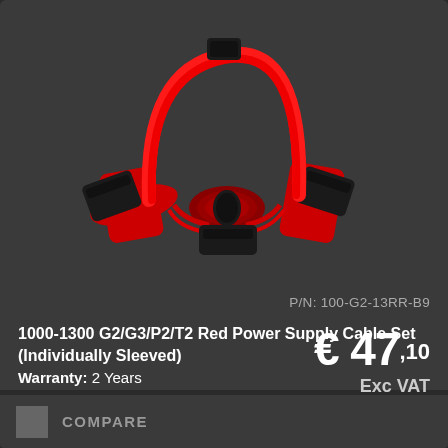[Figure (photo): Red sleeved power supply cable set with black connectors, coiled in a loop shape on a dark background]
P/N: 100-G2-13RR-B9
1000-1300 G2/G3/P2/T2 Red Power Supply Cable Set (Individually Sleeved)
Warranty: 2 Years
€ 47,10 Exc VAT
COMPARE